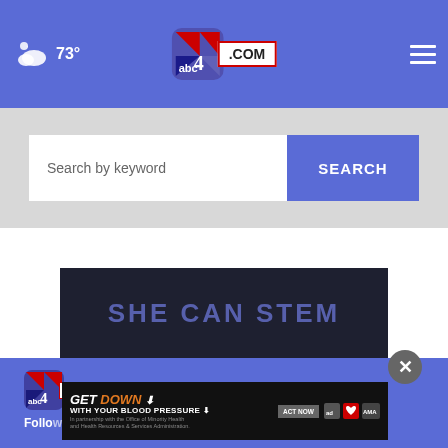abc4.com — 73° weather header with navigation
Search by keyword
SEARCH
[Figure (screenshot): SHE CAN STEM banner on dark background]
[Figure (logo): abc4.com logo in footer blue section]
Follow
[Figure (screenshot): GET DOWN WITH YOUR BLOOD PRESSURE advertisement banner with ACT NOW button, ad council, heart association and AMA logos]